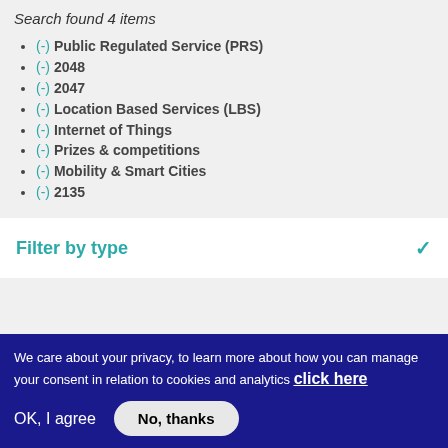Search found 4 items
(-) Public Regulated Service (PRS)
(-) 2048
(-) 2047
(-) Location Based Services (LBS)
(-) Internet of Things
(-) Prizes & competitions
(-) Mobility & Smart Cities
(-) 2135
Filter by type
We care about your privacy, to learn more about how you can manage your consent in relation to cookies and analytics click here
OK, I agree   No, thanks